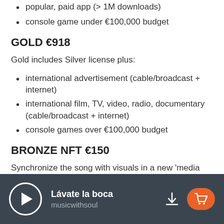popular, paid app (> 1M downloads)
console game under €100,000 budget
GOLD €918
Gold includes Silver license plus:
international advertisement (cable/broadcast + internet)
international film, TV, video, radio, documentary (cable/broadcast + internet)
console games over €100,000 budget
BRONZE NFT €150
Synchronize the song with visuals in a new 'media production'. With this license you are able to mint this
Lávate la boca | musicwithsoul